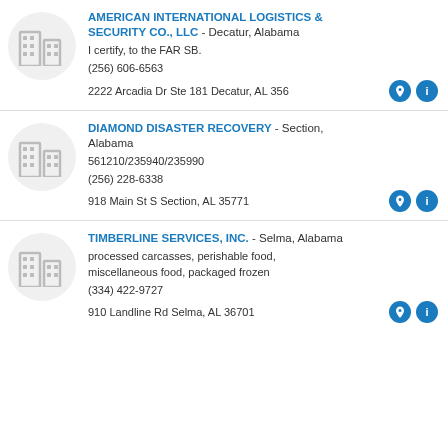AMERICAN INTERNATIONAL LOGISTICS & SECURITY CO., LLC - Decatur, Alabama
I certify, to the FAR SB.
(256) 606-6563
2222 Arcadia Dr Ste 181 Decatur, AL 356...
DIAMOND DISASTER RECOVERY - Section, Alabama
561210/235940/235990
(256) 228-6338
918 Main St S Section, AL 35771
TIMBERLINE SERVICES, INC. - Selma, Alabama
processed carcasses, perishable food, miscellaneous food, packaged frozen
(334) 422-9727
910 Landline Rd Selma, AL 36701